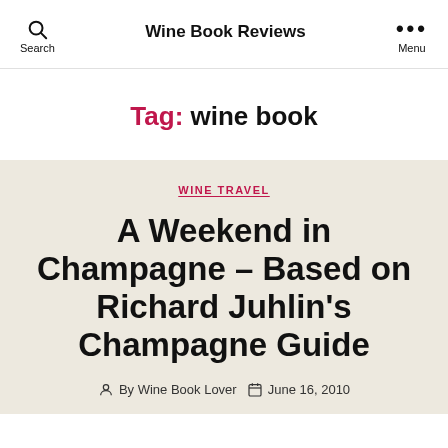Wine Book Reviews
Tag: wine book
WINE TRAVEL
A Weekend in Champagne – Based on Richard Juhlin's Champagne Guide
By Wine Book Lover   June 16, 2010